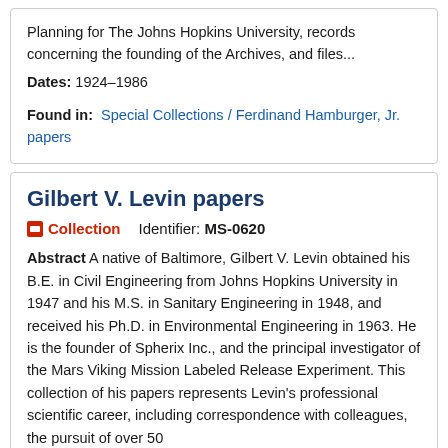Planning for The Johns Hopkins University, records concerning the founding of the Archives, and files...
Dates: 1924-1986
Found in: Special Collections / Ferdinand Hamburger, Jr. papers
Gilbert V. Levin papers
Collection   Identifier: MS-0620
Abstract A native of Baltimore, Gilbert V. Levin obtained his B.E. in Civil Engineering from Johns Hopkins University in 1947 and his M.S. in Sanitary Engineering in 1948, and received his Ph.D. in Environmental Engineering in 1963. He is the founder of Spherix Inc., and the principal investigator of the Mars Viking Mission Labeled Release Experiment. This collection of his papers represents Levin's professional scientific career, including correspondence with colleagues, the pursuit of over 50...